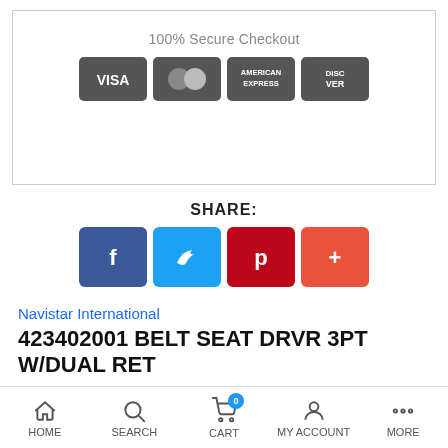[Figure (screenshot): 100% Secure Checkout section with VISA, Mastercard, American Express, Discover card icons on dark rounded rectangle buttons]
SHARE:
[Figure (infographic): Social share buttons: Facebook (f), Twitter (bird), Pinterest (p), Google+ (+)]
Navistar International
423402001 BELT SEAT DRVR 3PT W/DUAL RET
VENDOR : Navistar International
PRODUCT TYPE : Bus
CONDITION : N...
HOME   SEARCH   CART   MY ACCOUNT   MORE